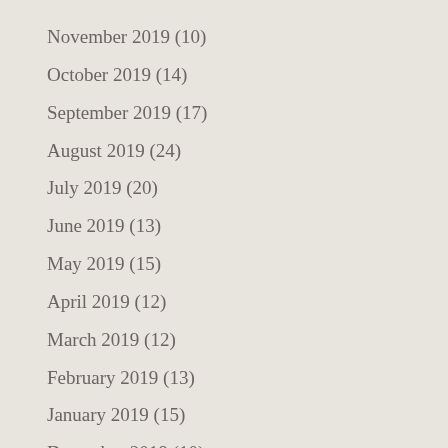November 2019 (10)
October 2019 (14)
September 2019 (17)
August 2019 (24)
July 2019 (20)
June 2019 (13)
May 2019 (15)
April 2019 (12)
March 2019 (12)
February 2019 (13)
January 2019 (15)
December 2018 (10)
November 2018 (14)
October 2018 (17)
September 2018 (22)